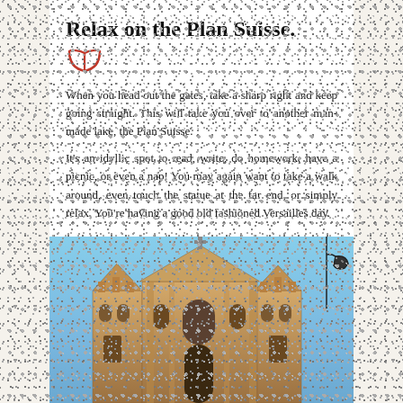Relax on the Plan Suisse.
[Figure (illustration): Red open book icon]
When you head out the gates, take a sharp right and keep going straight. This will take you over to another man-made lake, the Plan Suisse.
It's an idyllic spot to read, write, do homework, have a picnic, or even a nap! You may again want to take a walk around, even touch the statue at the far end, or simply relax. You're having a good old fashioned Versailles day.
[Figure (photo): Photograph of a baroque church or cathedral facade against a blue sky, with a street lamp visible in the upper right corner]